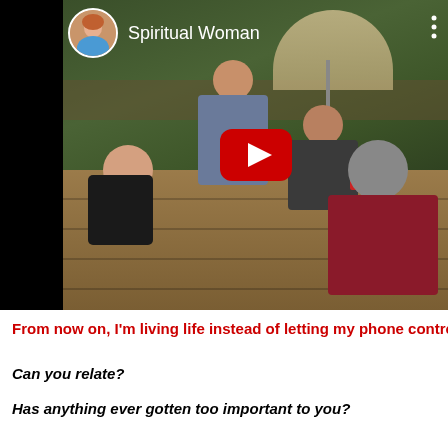[Figure (screenshot): YouTube video thumbnail showing group of people sitting on outdoor deck, with YouTube play button overlay. Channel name 'Spiritual Woman' with avatar shown in top-left of video.]
From now on, I'm living life instead of letting my phone control m
Can you relate?
Has anything ever gotten too important to you?